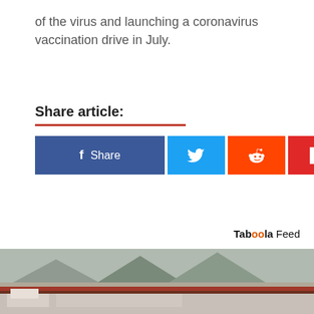of the virus and launching a coronavirus vaccination drive in July.
Share article:
[Figure (infographic): Social share buttons: Facebook Share, Twitter, Reddit, Flipboard, Email]
Taboola Feed
[Figure (photo): Photograph of a stadium exterior with mountain backdrop]